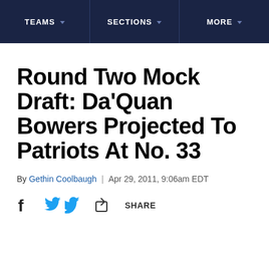TEAMS | SECTIONS | MORE
Round Two Mock Draft: Da'Quan Bowers Projected To Patriots At No. 33
By Gethin Coolbaugh | Apr 29, 2011, 9:06am EDT
SHARE